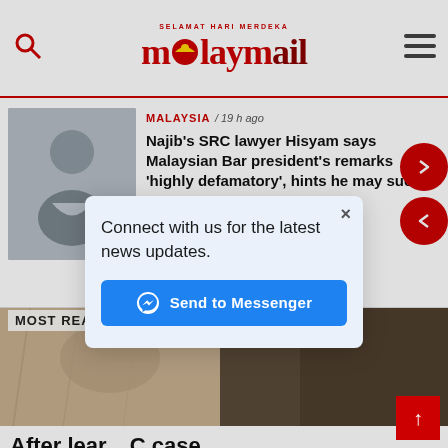Malay Mail — SELAMAT HARI MERDEKA
MALAYSIA / 19 h ago
Najib's SRC lawyer Hisyam says Malaysian Bar president's remarks 'highly defamatory', hints he may sue
MOST READ
After lea... C case, Rosma... tedly...
Connect with us for the latest news updates.
Send to Messenger